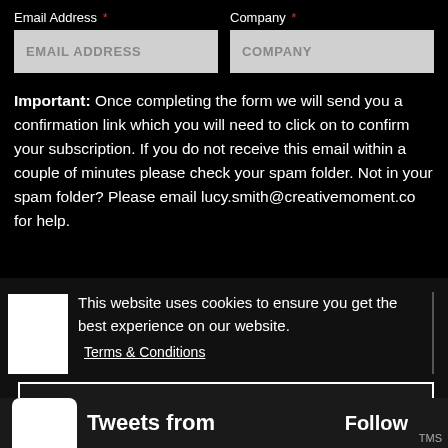Email Address *
EMAIL ADDRESS
Company *
COMPANY
Important: Once completing the form we will send you a confirmation link which you will need to click on to confirm your subscription. If you do not receive this email within a couple of minutes please check your spam folder. Not in your spam folder? Please email lucy.smith@creativemoment.co for help.
This website uses cookies to ensure you get the best experience on our website.
Terms & Conditions
Got it!
Twe
Tweets from
Follow